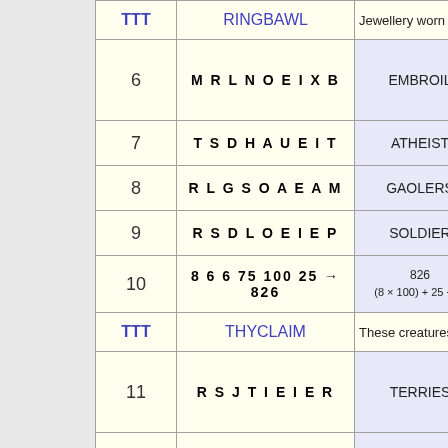| # | Letters | Answer |
| --- | --- | --- |
|  | RINGBAWL | Jewellery worn |
| 6 | M R L N O E I X B | EMBROIL |
| 7 | T S D H A U E I T | ATHEIST |
| 8 | R L G S O A E A M | GAOLERS |
| 9 | R S D L O E I E P | SOLDIER |
| 10 | 8 6 6 75 100 25 → 826 | 826
(8 × 100) + 25 + (6... |
| TTT | THYCLAIM | These creatures |
| 11 | R S J T I E I E R | TERRIES |
| 12 | N D F L A O E O V | FONDLE |
| 13 | S C G R I E O E K | COSIER |
| 14 | 6 10 3 6 1 9 → 881 | 871
((6 + 3) × 9 + 6) × 1... |